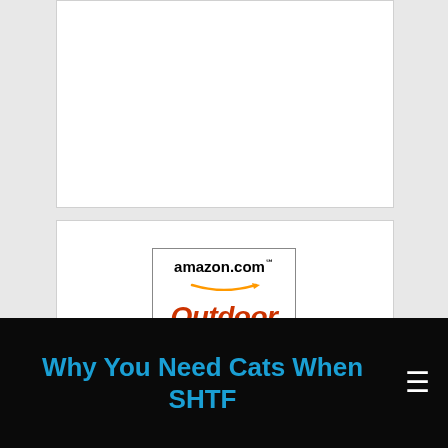[Figure (other): White card/panel area at top (appears blank/advertisement placeholder)]
[Figure (logo): Amazon.com Outdoor logo inside a bordered box. Shows 'amazon.com' in black bold with orange smile arrow beneath, and 'Outdoor' in large red italic text below.]
Why You Need Cats When SHTF